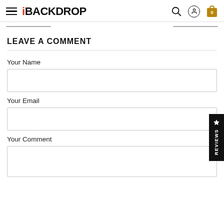iBackdrop navigation header with logo, search, account, and cart icons
LEAVE A COMMENT
Your Name
Your Email
Your Comment